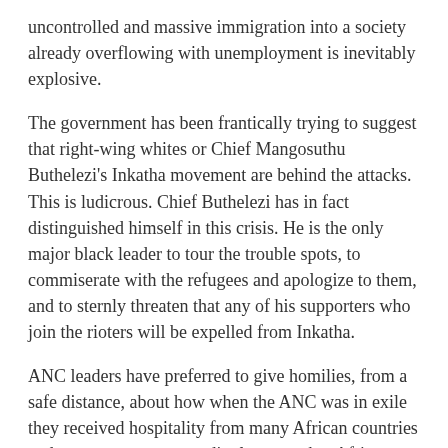uncontrolled and massive immigration into a society already overflowing with unemployment is inevitably explosive.
The government has been frantically trying to suggest that right-wing whites or Chief Mangosuthu Buthelezi's Inkatha movement are behind the attacks. This is ludicrous. Chief Buthelezi has in fact distinguished himself in this crisis. He is the only major black leader to tour the trouble spots, to commiserate with the refugees and apologize to them, and to sternly threaten that any of his supporters who join the rioters will be expelled from Inkatha.
ANC leaders have preferred to give homilies, from a safe distance, about how when the ANC was in exile they received hospitality from many African countries and everyone must accordingly treat other Africans as brothers now. This fails to understand the difference between a country hosting a few thousand ANC exiles and the competitive impact in the labor, housing and other markets of millions of illegal immigrants.
The government has treated the problem as one of